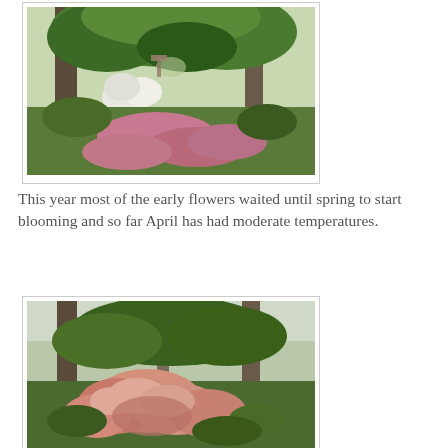[Figure (photo): Garden photo showing tall trees with lush green foliage and pink/white flowering shrubs covering the ground beneath]
This year most of the early flowers waited until spring to start blooming and so far April has had moderate temperatures.
[Figure (photo): Garden photo showing pink azaleas or rhododendrons blooming among trees in a woodland garden setting]